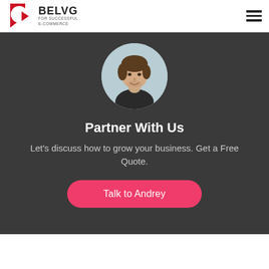BELVG FOR SUCCESSFUL E-COMMERCE
[Figure (illustration): Circular profile photo of a young man with brown hair on a light blue-grey background, used as an avatar for 'Andrey'.]
Partner With Us
Let's discuss how to grow your business. Get a Free Quote.
Talk to Andrey